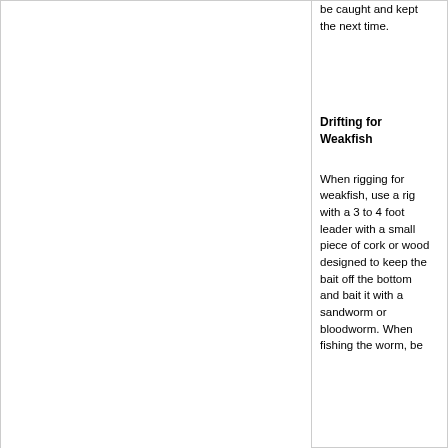be caught and kept the next time.
Drifting for Weakfish
When rigging for weakfish, use a rig with a 3 to 4 foot leader with a small piece of cork or wood designed to keep the bait off the bottom and bait it with a sandworm or bloodworm. When fishing the worm, be